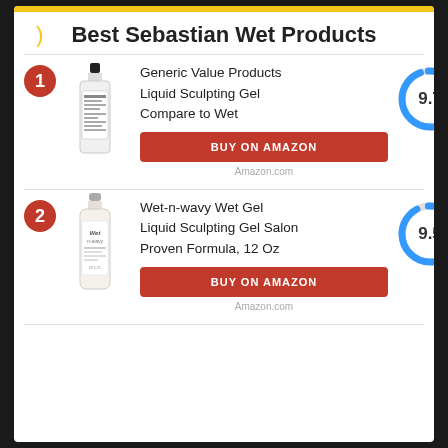Best Sebastian Wet Products
1 - Generic Value Products Liquid Sculpting Gel Compare to Wet - Score: 9.7
BUY ON AMAZON
Amazon.com
2 - Wet-n-wavy Wet Gel Liquid Sculpting Gel Salon Proven Formula, 12 Oz - Score: 9.5
BUY ON AMAZON
Amazon.com